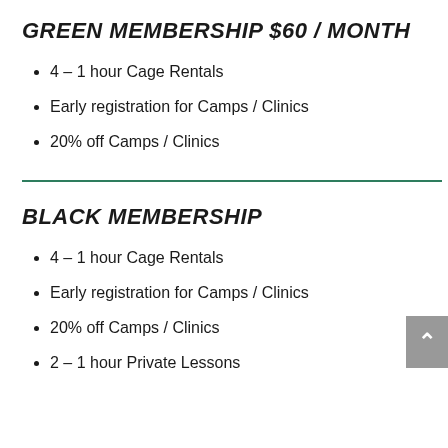GREEN MEMBERSHIP $60 / MONTH
4 – 1 hour Cage Rentals
Early registration for Camps / Clinics
20% off Camps / Clinics
BLACK MEMBERSHIP
4 – 1 hour Cage Rentals
Early registration for Camps / Clinics
20% off Camps / Clinics
2 – 1 hour Private Lessons